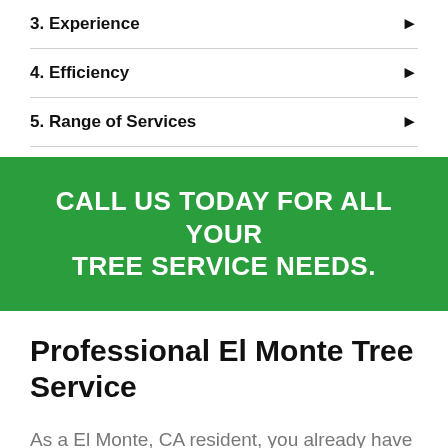3. Experience
4. Efficiency
5. Range of Services
CALL US TODAY FOR ALL YOUR TREE SERVICE NEEDS.
Professional El Monte Tree Service
As a El Monte, CA resident, you already have enough responsibilities at work, at home, or